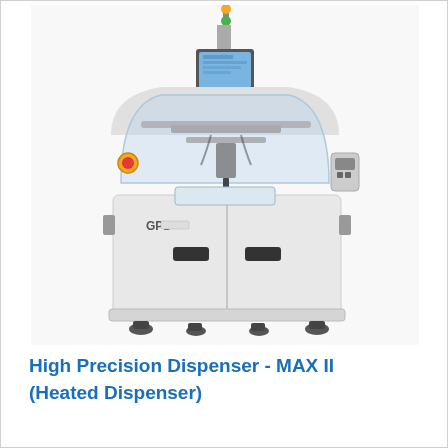[Figure (photo): Industrial high precision fluid dispensing machine (GPD MAX II Heated Dispenser). White cabinet body with two lower cabinet doors with black handles, GPD logo on front. Upper section has a curved transparent safety cover/shield showing the dispensing mechanism inside. A blue monitor/touchscreen is mounted on top center. A signal tower lamp (amber/green) is visible at the top. Yellow emergency stop button on left side. Control panel on right side. Machine sits on adjustable leveling feet.]
High Precision Dispenser - MAX II (Heated Dispenser)